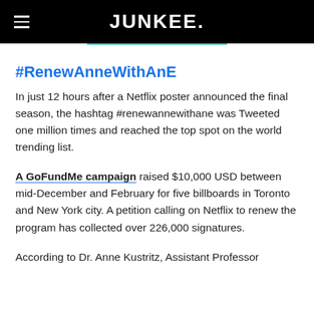JUNKEE.
#RenewAnneWithAnE
In just 12 hours after a Netflix poster announced the final season, the hashtag #renewannewithane was Tweeted one million times and reached the top spot on the world trending list.
A GoFundMe campaign raised $10,000 USD between mid-December and February for five billboards in Toronto and New York city. A petition calling on Netflix to renew the program has collected over 226,000 signatures.
According to Dr. Anne Kustritz, Assistant Professor